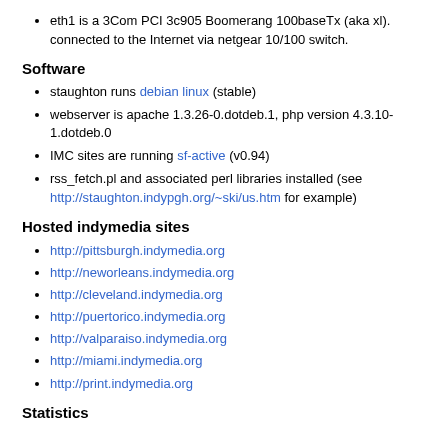eth1 is a 3Com PCI 3c905 Boomerang 100baseTx (aka xl). connected to the Internet via netgear 10/100 switch.
Software
staughton runs debian linux (stable)
webserver is apache 1.3.26-0.dotdeb.1, php version 4.3.10-1.dotdeb.0
IMC sites are running sf-active (v0.94)
rss_fetch.pl and associated perl libraries installed (see http://staughton.indypgh.org/~ski/us.htm for example)
Hosted indymedia sites
http://pittsburgh.indymedia.org
http://neworleans.indymedia.org
http://cleveland.indymedia.org
http://puertorico.indymedia.org
http://valparaiso.indymedia.org
http://miami.indymedia.org
http://print.indymedia.org
Statistics